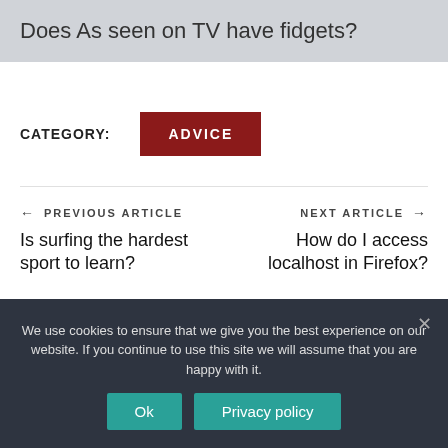Does As seen on TV have fidgets?
CATEGORY: ADVICE
← PREVIOUS ARTICLE
Is surfing the hardest sport to learn?
NEXT ARTICLE →
How do I access localhost in Firefox?
We use cookies to ensure that we give you the best experience on our website. If you continue to use this site we will assume that you are happy with it.